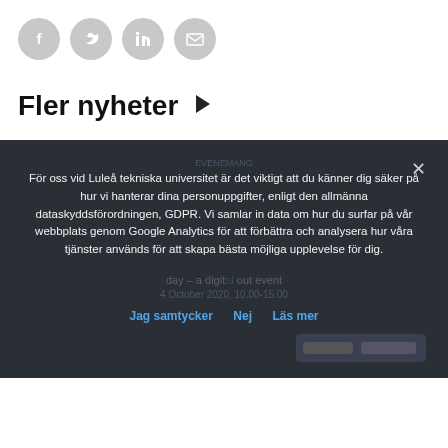[Figure (other): Social sharing icons: Facebook, Twitter, LinkedIn, Email — grey circles]
Fler nyheter ▶
För oss vid Luleå tekniska universitet är det viktigt att du känner dig säker på hur vi hanterar dina personuppgifter, enligt den allmänna dataskyddsförordningen, GDPR. Vi samlar in data om hur du surfar på vår webbplats genom Google Analytics för att förbättra och analysera hur våra tjänster används för att skapa bästa möjliga upplevelse för dig.
Jag samtycker   Nej   Läs mer